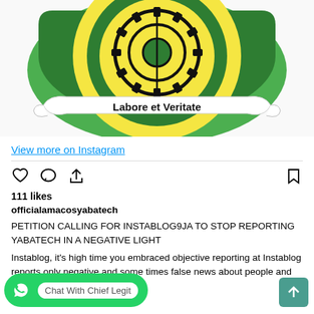[Figure (logo): Yabatech (Yaba College of Technology) coat of arms / logo featuring a gear/cog wheel symbol on a yellow and green shield, with a white banner ribbon reading 'Labore et Veritate' in black bold text.]
View more on Instagram
111 likes
officialamacosyabatech
PETITION CALLING FOR INSTABLOG9JA TO STOP REPORTING YABATECH IN A NEGATIVE LIGHT
Instablog, it's high time you embraced objective reporting at Instablog reports only negative and some times false news about people and organizations.